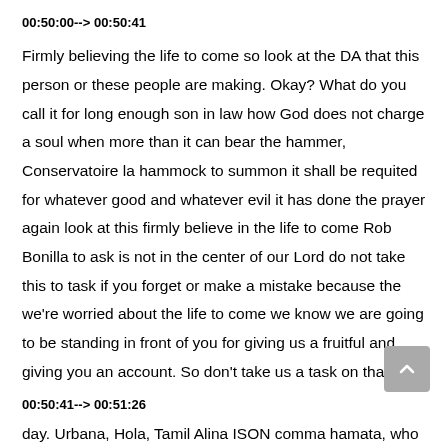00:50:00--> 00:50:41
Firmly believing the life to come so look at the DA that this person or these people are making. Okay? What do you call it for long enough son in law how God does not charge a soul when more than it can bear the hammer, Conservatoire la hammock to summon it shall be requited for whatever good and whatever evil it has done the prayer again look at this firmly believe in the life to come Rob Bonilla to ask is not in the center of our Lord do not take this to task if you forget or make a mistake because the we're worried about the life to come we know we are going to be standing in front of you for giving us a fruitful and giving you an account. So don't take us a task on that
00:50:41--> 00:51:26
day. Urbana, Hola, Tamil Alina ISON comma hamata, who Lena Lord